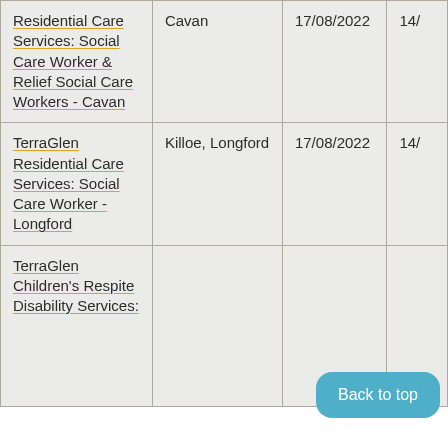| Residential Care Services: Social Care Worker & Relief Social Care Workers - Cavan | Cavan | 17/08/2022 | 14/ |
| TerraGlen Residential Care Services: Social Care Worker - Longford | Killoe, Longford | 17/08/2022 | 14/ |
| TerraGlen Children's Respite Disability Services: | Portl... | 17/08/2022 | 14/ |